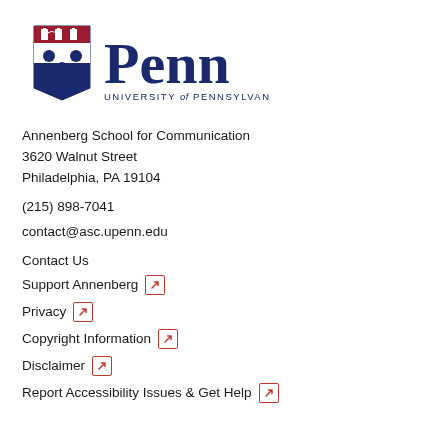[Figure (logo): University of Pennsylvania Penn shield logo with wordmark 'Penn' and 'UNIVERSITY of PENNSYLVANIA']
Annenberg School for Communication
3620 Walnut Street
Philadelphia, PA 19104
(215) 898-7041
contact@asc.upenn.edu
Contact Us
Support Annenberg [external link]
Privacy [external link]
Copyright Information [external link]
Disclaimer [external link]
Report Accessibility Issues & Get Help [external link]